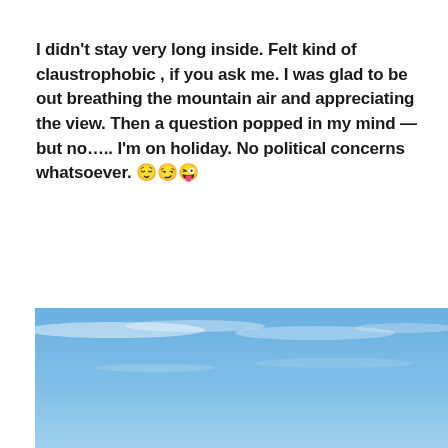I didn't stay very long inside. Felt kind of claustrophobic , if you ask me. I was glad to be out breathing the mountain air and appreciating the view. Then a question popped in my mind — but no….. I'm on holiday. No political concerns whatsoever. 😌😏😜
[Figure (photo): A blue sky with faint wispy clouds, viewed from a high elevation mountain vantage point. The sky fills the entire image area.]